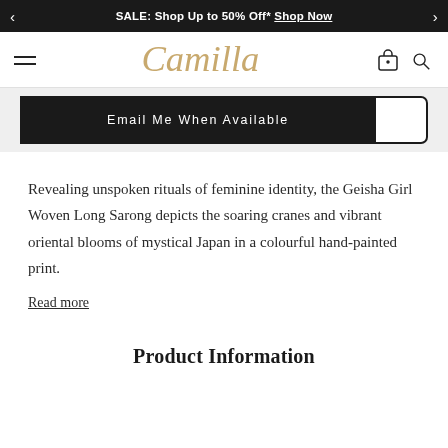SALE: Shop Up to 50% Off* Shop Now
[Figure (logo): Camilla brand logo in gold italic script]
Email Me When Available
Revealing unspoken rituals of feminine identity, the Geisha Girl Woven Long Sarong depicts the soaring cranes and vibrant oriental blooms of mystical Japan in a colourful hand-painted print.
Read more
Product Information